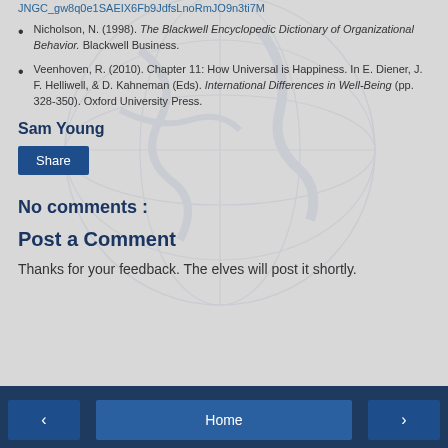JNGC_gw8q0e1SAEIX6Fb9JdfsLnoRmJO9n3ti7M
Nicholson, N. (1998). The Blackwell Encyclopedic Dictionary of Organizational Behavior. Blackwell Business.
Veenhoven, R. (2010). Chapter 11: How Universal is Happiness. In E. Diener, J. F. Helliwell, & D. Kahneman (Eds). International Differences in Well-Being (pp. 328-350). Oxford University Press.
Sam Young
Share
No comments :
Post a Comment
Thanks for your feedback. The elves will post it shortly.
< Home >